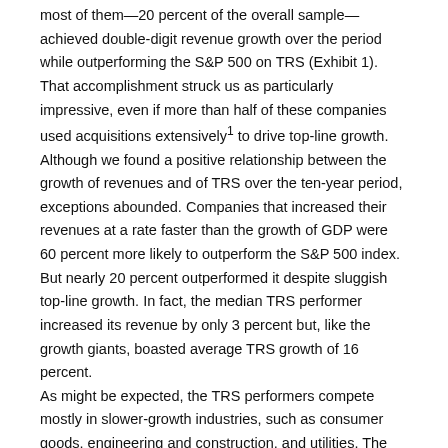most of them—20 percent of the overall sample—achieved double-digit revenue growth over the period while outperforming the S&P 500 on TRS (Exhibit 1). That accomplishment struck us as particularly impressive, even if more than half of these companies used acquisitions extensively1 to drive top-line growth. Although we found a positive relationship between the growth of revenues and of TRS over the ten-year period, exceptions abounded. Companies that increased their revenues at a rate faster than the growth of GDP were 60 percent more likely to outperform the S&P 500 index. But nearly 20 percent outperformed it despite sluggish top-line growth. In fact, the median TRS performer increased its revenue by only 3 percent but, like the growth giants, boasted average TRS growth of 16 percent. As might be expected, the TRS performers compete mostly in slower-growth industries, such as consumer goods, engineering and construction, and utilities. The keys to their ability to create value were good execution, cost controls, and savvy portfolio management—all of which generated strong earnings growth. Many of these companies sold or exited lower-margin businesses